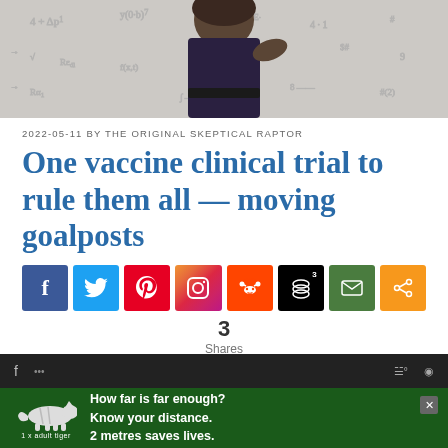[Figure (photo): Header photo of a person (partially visible torso) against a whiteboard covered in mathematical equations and formulas]
2022-05-11 BY THE ORIGINAL SKEPTICAL RAPTOR
One vaccine clinical trial to rule them all — moving goalposts
[Figure (other): Social sharing buttons row: Facebook (blue), Twitter (blue), Pinterest (red), Instagram (gradient), Reddit (orange), Buffer (black, badge '3'), Email (green), Share (orange)]
3
Shares
f you spend time listening to anti-
vaxxers, you would hear that they
[Figure (other): Advertisement bar at bottom: tiger logo image with '1 x adult tiger' label, text 'How far is far enough? Know your distance. 2 metres saves lives.' with close button X]